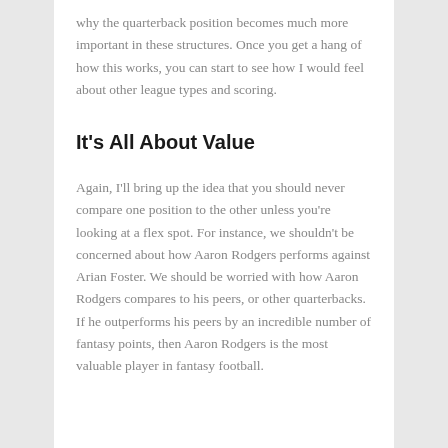why the quarterback position becomes much more important in these structures. Once you get a hang of how this works, you can start to see how I would feel about other league types and scoring.
It's All About Value
Again, I'll bring up the idea that you should never compare one position to the other unless you're looking at a flex spot. For instance, we shouldn't be concerned about how Aaron Rodgers performs against Arian Foster. We should be worried with how Aaron Rodgers compares to his peers, or other quarterbacks. If he outperforms his peers by an incredible number of fantasy points, then Aaron Rodgers is the most valuable player in fantasy football.